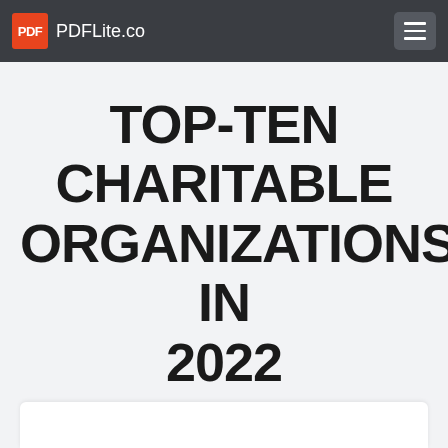PDFLite.co
TOP-TEN CHARITABLE ORGANIZATIONS IN 2022